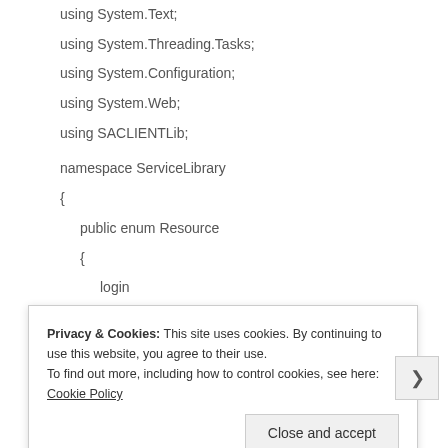using System.Text;
using System.Threading.Tasks;
using System.Configuration;
using System.Web;
using SACLIENTLib;
namespace ServiceLibrary
{
public enum Resource
{
login
}
public class ALMService
Privacy & Cookies: This site uses cookies. By continuing to use this website, you agree to their use.
To find out more, including how to control cookies, see here: Cookie Policy